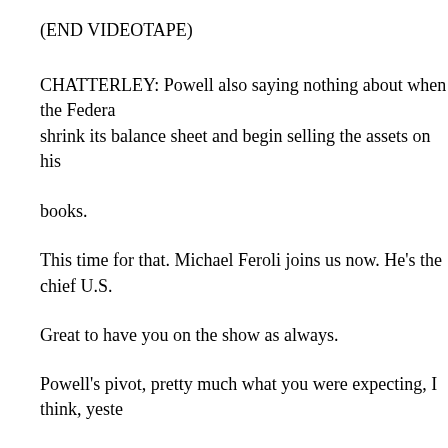(END VIDEOTAPE)
CHATTERLEY: Powell also saying nothing about when the Federal Reserve will shrink its balance sheet and begin selling the assets on his books.
This time for that. Michael Feroli joins us now. He's the chief U.S.
Great to have you on the show as always.
Powell's pivot, pretty much what you were expecting, I think, yeste
MICHAEL FEROLI, CHIEF U.S. ECONOMIST J.P. MORGAN: Y was a pretty well-telegraphed meeting for about two or three